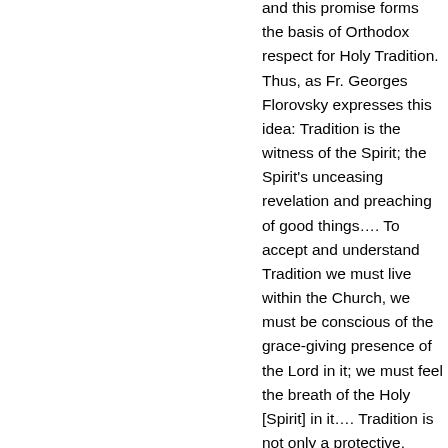and this promise forms the basis of Orthodox respect for Holy Tradition. Thus, as Fr. Georges Florovsky expresses this idea: Tradition is the witness of the Spirit; the Spirit's unceasing revelation and preaching of good things…. To accept and understand Tradition we must live within the Church, we must be conscious of the grace-giving presence of the Lord in it; we must feel the breath of the Holy [Spirit] in it…. Tradition is not only a protective, conservative principle; it is, primarily, the principle of growth and regeneration….